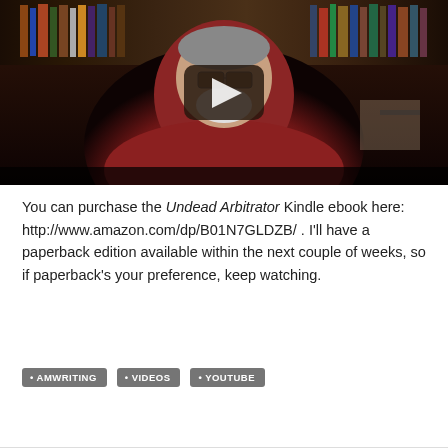[Figure (screenshot): Video thumbnail showing a middle-aged man with white beard and glasses wearing a dark red shirt, seated in front of bookshelves. A YouTube-style play button is overlaid in the center.]
You can purchase the Undead Arbitrator Kindle ebook here: http://www.amazon.com/dp/B01N7GLDZB/ .  I'll have a paperback edition available within the next couple of weeks, so if paperback's your preference, keep watching.
AMWRITING
VIDEOS
YOUTUBE